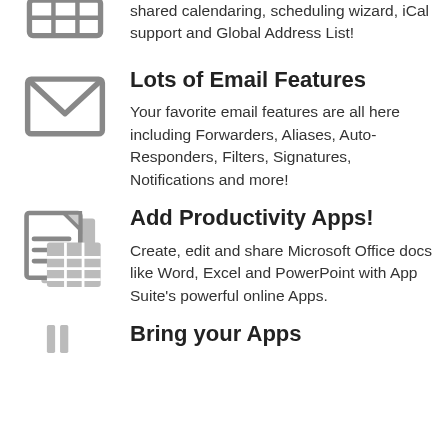shared calendaring, scheduling wizard, iCal support and Global Address List!
[Figure (illustration): Envelope / email icon (gray outline)]
Lots of Email Features
Your favorite email features are all here including Forwarders, Aliases, Auto-Responders, Filters, Signatures, Notifications and more!
[Figure (illustration): Document and spreadsheet productivity apps icon (gray)]
Add Productivity Apps!
Create, edit and share Microsoft Office docs like Word, Excel and PowerPoint with App Suite's powerful online Apps.
[Figure (illustration): Partial icon at bottom (gray)]
Bring your Apps